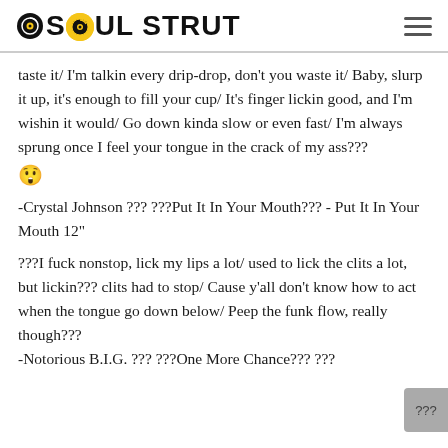SOUL STRUT
taste it/ I'm talkin every drip-drop, don't you waste it/ Baby, slurp it up, it's enough to fill your cup/ It's finger lickin good, and I'm wishin it would/ Go down kinda slow or even fast/ I'm always sprung once I feel your tongue in the crack of my ass??? 😲
-Crystal Johnson ??? ???Put It In Your Mouth??? - Put It In Your Mouth 12"
???I fuck nonstop, lick my lips a lot/ used to lick the clits a lot, but lickin??? clits had to stop/ Cause y'all don't know how to act when the tongue go down below/ Peep the funk flow, really though??? -Notorious B.I.G. ??? ???One More Chance??? ???